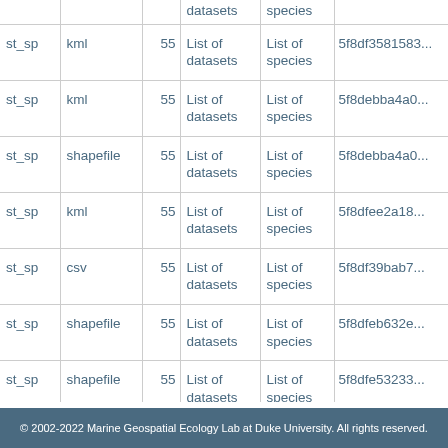| (type) | (format) | (num) | datasets | species | (id) |
| --- | --- | --- | --- | --- | --- |
| st_sp | kml | 55 | List of datasets | List of species | 5f8df3581583... |
| st_sp | kml | 55 | List of datasets | List of species | 5f8debba4a0... |
| st_sp | shapefile | 55 | List of datasets | List of species | 5f8debba4a0... |
| st_sp | kml | 55 | List of datasets | List of species | 5f8dfee2a18... |
| st_sp | csv | 55 | List of datasets | List of species | 5f8df39bab7... |
| st_sp | shapefile | 55 | List of datasets | List of species | 5f8dfeb632e... |
| st_sp | shapefile | 55 | List of datasets | List of species | 5f8dfe53233... |
| ints | kml | 56 | List of datasets | List of species | 5f8de0c0678... |
| ints | shapefile | 56 | List of datasets | List of species | 5f8de0c0678... |
© 2002-2022 Marine Geospatial Ecology Lab at Duke University. All rights reserved.